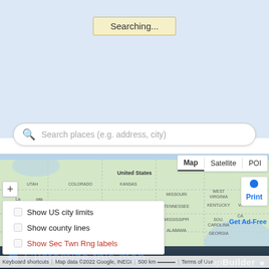Searching...
Search places (e.g. address, city)
[Figure (map): Google Maps view of the United States showing states including Utah, Colorado, Kansas, Nebraska, Missouri, Oklahoma, Arkansas, Mississippi, Louisiana, Alabama, Georgia, Tennessee, Kentucky, West Virginia, South Carolina. Houston labeled. Map/Satellite/POI tabs visible. Location dot shown. Print link visible. Get Ad-Free link visible.]
Show US city limits
Show county lines
Show Sec Twn Rng labels
Keyboard shortcuts   Map data ©2022 Google, INEGI   500 km   Terms of Use
Customize this map
mapBuilder